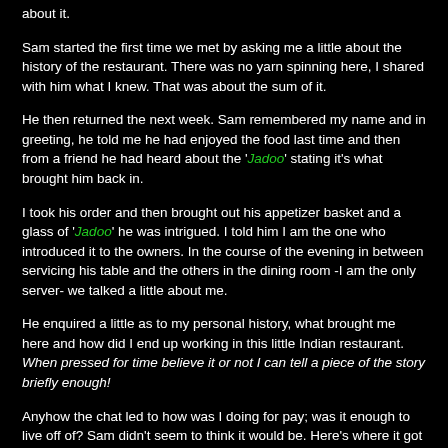about it.
Sam started the first time we met by asking me a little about the history of the restaurant.  There was no yarn spinning here, I shared with him what I knew.  That was about the sum of it.
He then returned the next week.  Sam remembered my name and in greeting, he told me he had enjoyed the food last time and then from a friend he had heard about the 'Jadoo' stating it's what brought him back in.
I took his order and then brought out his appetizer basket and a glass of 'Jadoo' he was intrigued.  I told him I am the one who introduced it to the owners.  In the course of the evening in between servicing his table and the others in the dining room -I am the only server- we talked a little about me.
He enquired a little as to my personal history, what brought me here and how did I end up working in this little Indian restaurant.  When pressed for time believe it or not I can tell a piece of the story briefly enough!
Anyhow the chat led to how was I doing for pay; was it enough to live off of?  Sam didn't seem to think it would be.  Here's where it got sticky though I didn't realise how sticky it would become.
I told Sam straight up about our agreement, the one between Jack, Bill and